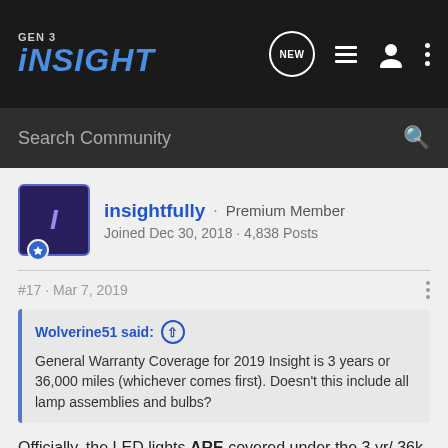[Figure (screenshot): Gen 3 Insight forum website navigation bar with logo, search, and icons]
Search Community
insightfully · Premium Member
Joined Dec 30, 2018 · 4,838 Posts
#17 · Mar 7, 2019
Wolverine51 said: General Warranty Coverage for 2019 Insight is 3 years or 36,000 miles (whichever comes first). Doesn't this include all lamp assemblies and bulbs?
Officially, the LED lights ARE covered under the 3 yr/ 36k warranty as part of "Federal Emissions Warranty." It's interesting/odd to be part of emissions coverage, but I'll take it!